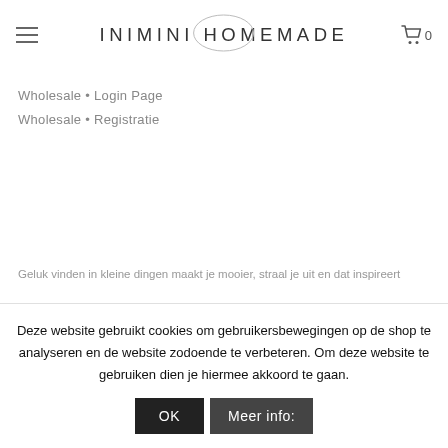[Figure (logo): INIMINI HOMEMADE logo with oval/ellipse shape above the text, hamburger menu icon on the left, shopping cart icon with '0' on the right]
Wholesale • Login Page
Wholesale • Registratie
Geluk vinden in kleine dingen maakt je mooier, straal je uit en dat inspireert
Deze website gebruikt cookies om gebruikersbewegingen op de shop te analyseren en de website zodoende te verbeteren. Om deze website te gebruiken dien je hiermee akkoord te gaan.